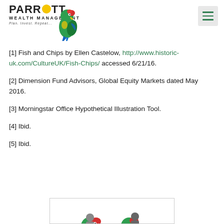Parrott Wealth Management — Plan. Invest. Repeat.
[1] Fish and Chips by Ellen Castelow, http://www.historic-uk.com/CultureUK/Fish-Chips/ accessed 6/21/16.
[2] Dimension Fund Advisors, Global Equity Markets dated May 2016.
[3] Morningstar Office Hypothetical Illustration Tool.
[4] Ibid.
[5] Ibid.
[Figure (logo): Parrott Wealth Management logo with parrot illustration at bottom of page]